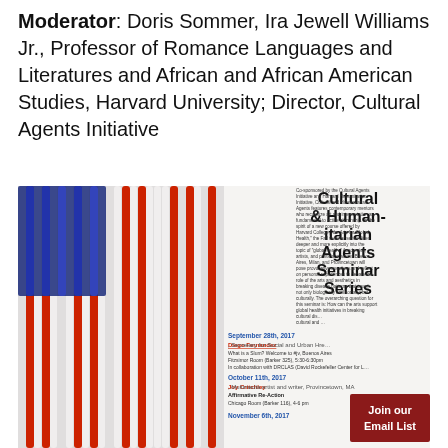Moderator: Doris Sommer, Ira Jewell Williams Jr., Professor of Romance Languages and Literatures and African and African American Studies, Harvard University; Director, Cultural Agents Initiative
[Figure (photo): A flyer for the Cultural & Humanitarian Agents Seminar Series, featuring an artistic American flag made of vertical colored tubes/rods on the left, and event text on the right with a 'Join our Email List' red button. Events listed include September 28th 2017, October 11th 2017, and November 6th 2017.]